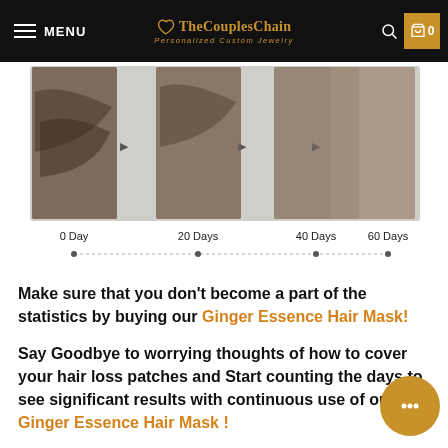MENU | TheCouplesChain Personalized Custom Jewelry
[Figure (photo): Hair loss progression timeline showing 4 photos labeled 0 Day, 20 Days, 40 Days, 60 Days with dotted progress bar underneath]
Make sure that you don't become a part of the statistics by buying our Ginger Essence Hair Mask!
Say Goodbye to worrying thoughts of how to cover your hair loss patches and Start counting the days to see significant results with continuous use of our Ginger Essence Hair Mask !
Condition your hair from root to tips with the